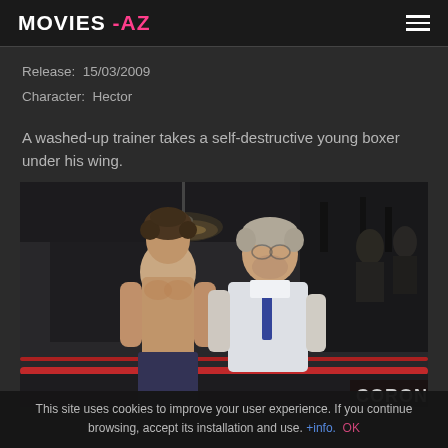MOVIES -AZ
Release:  15/03/2009
Character:  Hector
A washed-up trainer takes a self-destructive young boxer under his wing.
[Figure (photo): Two men standing by a boxing ring — a shirtless young man with curly hair and an older heavier man in a white shirt with a tie, inside a boxing gym. A 'CORON' sign is partially visible in the bottom right corner.]
This site uses cookies to improve your user experience. If you continue browsing, accept its installation and use. +info.  OK